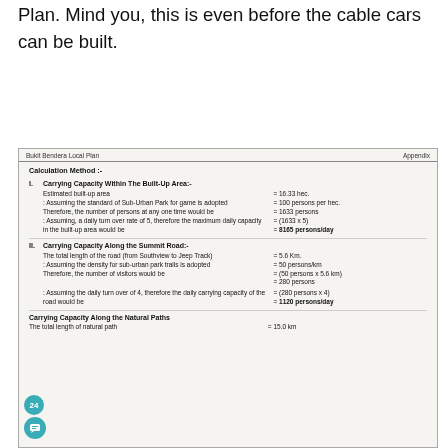Plan. Mind you, this is even before the cable cars can be built.
[Figure (other): Scanned document page from Bukit Bendera Local Plan appendix showing carrying capacity calculations for built-up area, summit road, and natural paths.]
Bukit Bendera Local Plan    Appendix
Calculation Method :-
I. Carrying Capacity Within The Built-Up Area:-
Estimated built-up area = 16.33 hec.
: Assuming the standard of Sub-Urban Park for game is adopted = 100 persons per hec.
Therefore, the number of persons at any one time would be = 1633 persons
: Assuming, a daily turn over rate of 5, therefore the maximum daily capacity in the built-up area would be = (1633 x 5) = 8165 persons/day
II. Carrying Capacity Along the Summit Road:-
The total length of the road (from Southview to Jeep Track) = 5.6 Km.
: Assuming the density for sub-urban park trails is adopted = 50 persons/km
Therefore, the number of visitors would be = (50 persons x 5.6 km) = 280 persons
: Assuming the daily turn over of 4, therefore the daily carrying capacity of the road would be = (280 persons x 4) = 1120 persons/day
Carrying Capacity Along the Natural Paths
The total length of natural path = 15.0 km